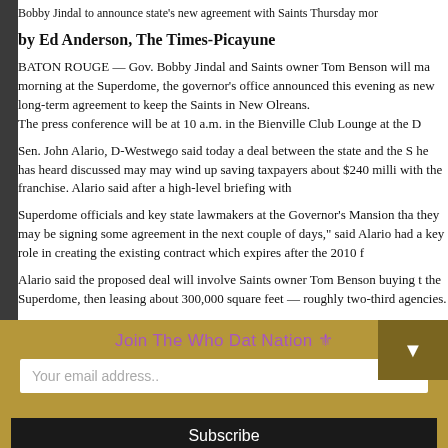Bobby Jindal to announce state's new agreement with Saints Thursday mor
by Ed Anderson, The Times-Picayune
BATON ROUGE — Gov. Bobby Jindal and Saints owner Tom Benson will ma morning at the Superdome, the governor's office announced this evening as new long-term agreement to keep the Saints in New Olreans. The press conference will be at 10 a.m. in the Bienville Club Lounge at the D
Sen. John Alario, D-Westwego said today a deal between the state and the S he has heard discussed may may wind up saving taxpayers about $240 milli with the franchise. Alario said after a high-level briefing with
Superdome officials and key state lawmakers at the Governor's Mansion tha they may be signing some agreement in the next couple of days," said Alario had a key role in creating the existing contract which expires after the 2010 f
Alario said the proposed deal will involve Saints owner Tom Benson buying t the Superdome, then leasing about 300,000 square feet — roughly two-third agencies.
Several lawmakers who attended a later briefing on the deal said sta million a year in rent for offices at the tower.
Join The Who Dat Nation ✾
Your email address..
Subscribe